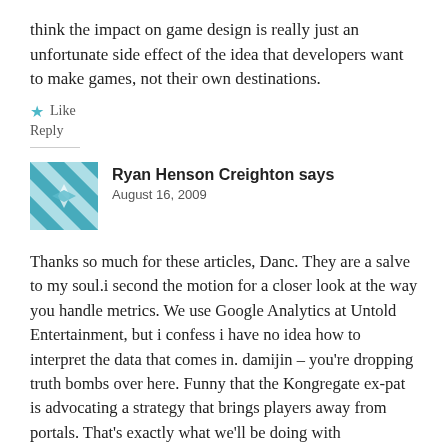think the impact on game design is really just an unfortunate side effect of the idea that developers want to make games, not their own destinations.
★ Like
Reply
Ryan Henson Creighton says
August 16, 2009
[Figure (illustration): Avatar image for Ryan Henson Creighton — a teal/white geometric quilt-pattern square avatar]
Thanks so much for these articles, Danc. They are a salve to my soul.i second the motion for a closer look at the way you handle metrics. We use Google Analytics at Untold Entertainment, but i confess i have no idea how to interpret the data that comes in. damijin – you're dropping truth bombs over here. Funny that the Kongregate ex-pat is advocating a strategy that brings players away from portals. That's exactly what we'll be doing with Interrupting Cow